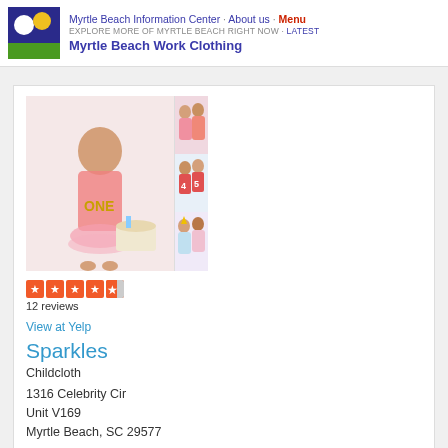Myrtle Beach Information Center · About us · Menu
EXPLORE MORE OF MYRTLE BEACH RIGHT NOW · Latest
Myrtle Beach Work Clothing
[Figure (photo): Collage of children in pink birthday party outfits and clothing]
12 reviews
View at Yelp
Sparkles
Childcloth
1316 Celebrity Cir
Unit V169
Myrtle Beach, SC 29577